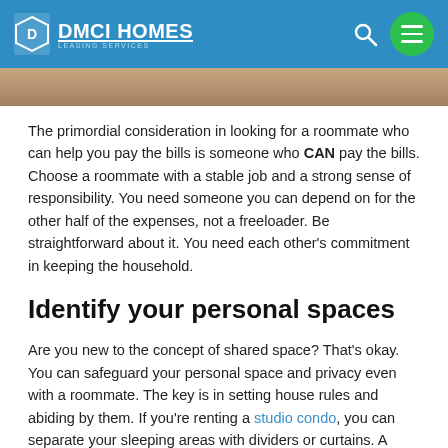DMCI HOMES LEASING SERVICES
[Figure (photo): Partial image strip showing a blurred photo, likely of people or a room interior]
The primordial consideration in looking for a roommate who can help you pay the bills is someone who CAN pay the bills. Choose a roommate with a stable job and a strong sense of responsibility. You need someone you can depend on for the other half of the expenses, not a freeloader. Be straightforward about it. You need each other's commitment in keeping the household.
Identify your personal spaces
Are you new to the concept of shared space? That's okay. You can safeguard your personal space and privacy even with a roommate. The key is in setting house rules and abiding by them. If you're renting a studio condo, you can separate your sleeping areas with dividers or curtains. A bookshelf can separate parts of your unit in style. Get creative.
There's no harm in sharing some items. Who else can come to your rescue when you run out of shampoo in the morning? But make sure you don't encroach into each other's privacy.